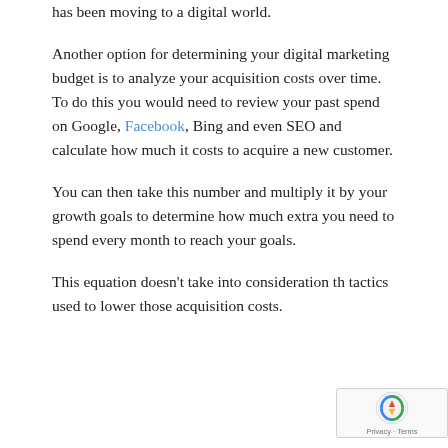has been moving to a digital world.
Another option for determining your digital marketing budget is to analyze your acquisition costs over time. To do this you would need to review your past spend on Google, Facebook, Bing and even SEO and calculate how much it costs to acquire a new customer.
You can then take this number and multiply it by your growth goals to determine how much extra you need to spend every month to reach your goals.
This equation doesn't take into consideration the tactics used to lower those acquisition costs.